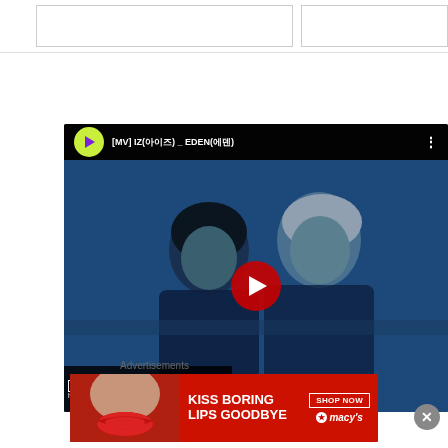[Figure (screenshot): Top navigation bar area with two empty input/search boxes on white background]
[Figure (screenshot): YouTube embedded video player showing [MV] IZ(아이즈) _ EDEN(에덴) with 1theK logo, two K-pop artists in blue-tinted thumbnail, red play button overlay, and OFFICIAL watermark. Close button (X) visible at bottom right.]
Advertisements
[Figure (photo): Macy's advertisement banner with red background showing 'KISS BORING LIPS GOODBYE' text with a face and red lips, SHOP NOW button, and Macy's star logo]